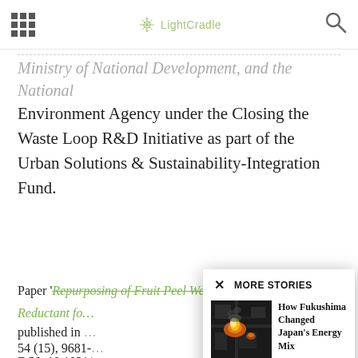LightCradle
Ministry of National Development, and the National Environment Agency under the Closing the Waste Loop R&D Initiative as part of the Urban Solutions & Sustainability-Integration Fund.
Paper 'Repurposing of Fruit Peel Waste as a Green Reductant fo… published in … 54 (15), 9681-
DOI: 10.1021/a…
[Figure (screenshot): More Stories modal popup showing: How Fukushima Changed Japan's Energy Mix, ENERGY category, with an aerial photo of an industrial fire.]